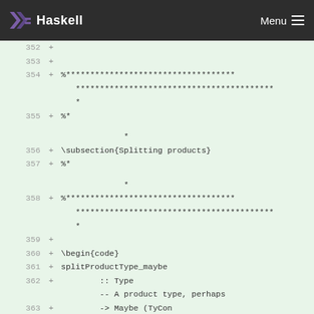Haskell  Menu
352  +
353  +
354  + %***********************************
         *
355  + %*

              *
356  + \subsection{Splitting products}
357  + %*

              *
358  + %***********************************
         *
359  +
360  + \begin{code}
361  + splitProductType_maybe
362  +         :: Type
             -- A product type, perhaps
363  + ->  Maybe (TyCon